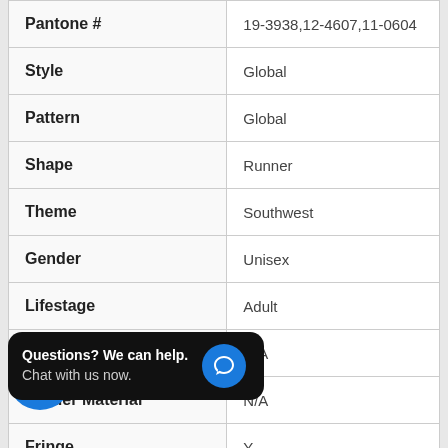| Attribute | Value |
| --- | --- |
| Pantone # | 19-3938,12-4607,11-0604 |
| Style | Global |
| Pattern | Global |
| Shape | Runner |
| Theme | Southwest |
| Gender | Unisex |
| Lifestage | Adult |
| Border Color | N/A |
| Border Material | N/A |
| Fringe | Y |
Questions? We can help. Chat with us now.